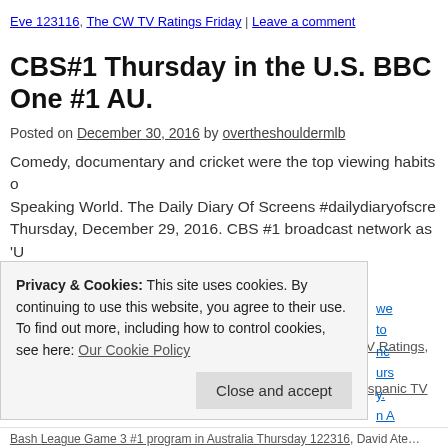Eve 123116, The CW TV Ratings Friday | Leave a comment
CBS#1 Thursday in the U.S. BBC One #1 AU.
Posted on December 30, 2016 by overtheshouldermlb
Comedy, documentary and cricket were the top viewing habits of the English Speaking World. The Daily Diary Of Screens #dailydiaryofscreens for Thursday, December 29, 2016. CBS #1 broadcast network as 'U… #1 broadcast program. … Continue reading →
Posted in Audience Analysis, Audience Behavior, Audience Management, Broadcast TV Ratings in the UK, Broadcast TV Ratings in US, Cable TV Ratings, Cinema TV Ratings, Daily TV Cable Ratings, Data, Digital, Direct, Hispanic TV Ratings,
Privacy & Cookies: This site uses cookies. By continuing to use this website, you agree to their use. To find out more, including how to control cookies, see here: Our Cookie Policy
Bash League Game 3 #1 program in Australia Thursday 122316, David Ate…